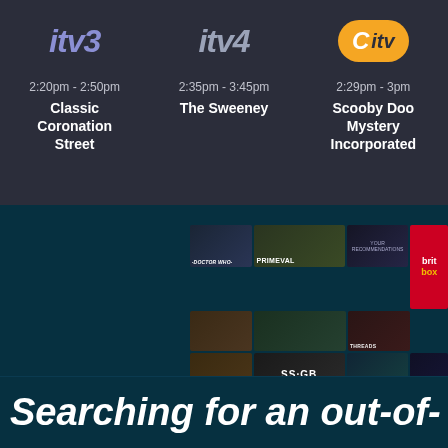[Figure (logo): ITV3 channel logo in purple/slate color, italic bold font]
2:20pm - 2:50pm
Classic Coronation Street
[Figure (logo): ITV4 channel logo in slate/gray color, italic bold font]
2:35pm - 3:45pm
The Sweeney
[Figure (logo): CITV channel logo with orange rounded rectangle, C in white and itv in dark]
2:29pm - 3pm
Scooby Doo Mystery Incorporated
[Figure (screenshot): Grid of TV show thumbnails including Doctor Who, Primeval, SS-GB, Hyperdrive, The Aliens, Threads and a BritBox branding badge]
Searching for an out-of-